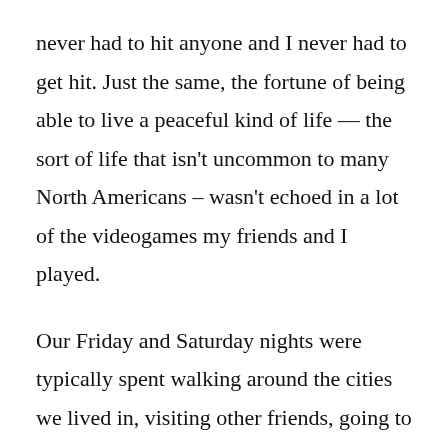never had to hit anyone and I never had to get hit. Just the same, the fortune of being able to live a peaceful kind of life — the sort of life that isn't uncommon to many North Americans – wasn't echoed in a lot of the videogames my friends and I played.
Our Friday and Saturday nights were typically spent walking around the cities we lived in, visiting other friends, going to parties and playing or listening to music. All of this was peaceful and good, but when we